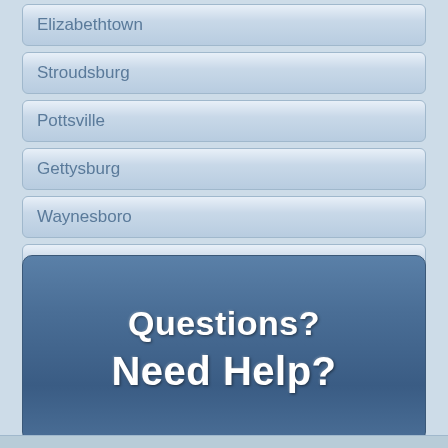Elizabethtown
Stroudsburg
Pottsville
Gettysburg
Waynesboro
Whitehall
Feasterville
[Figure (infographic): Blue rounded rectangle button with white text reading 'Questions? Need Help?']